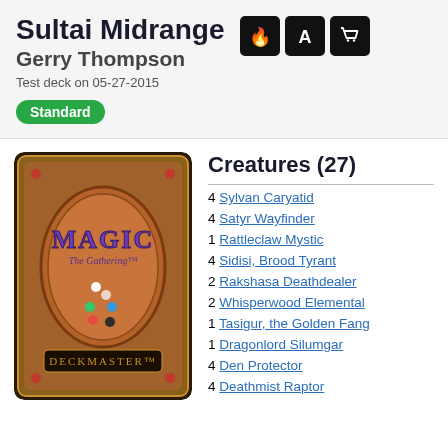Sultai Midrange
Gerry Thompson
Test deck on 05-27-2015
Standard
[Figure (illustration): Magic: The Gathering card back with DECKMASTER logo]
Creatures (27)
4 Sylvan Caryatid
4 Satyr Wayfinder
1 Rattleclaw Mystic
4 Sidisi, Brood Tyrant
2 Rakshasa Deathdealer
2 Whisperwood Elemental
1 Tasigur, the Golden Fang
1 Dragonlord Silumgar
4 Den Protector
4 Deathmist Raptor